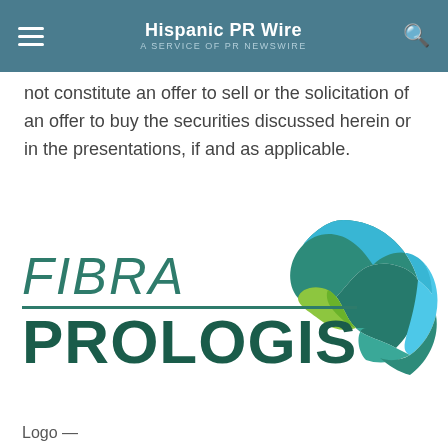Hispanic PR Wire — A SERVICE OF PR NEWSWIRE
not constitute an offer to sell or the solicitation of an offer to buy the securities discussed herein or in the presentations, if and as applicable.
[Figure (logo): Fibra Prologis logo: globe graphic with teal, blue, and green segments on the right, italic 'FIBRA' text with underline on the left, and bold 'PROLOGIS' text below]
Logo —